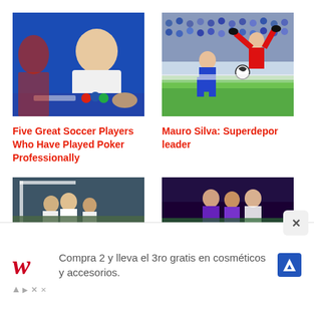[Figure (photo): Soccer player/celebrity at a poker table, smiling, blue background]
[Figure (photo): Soccer player in red kit performing a bicycle kick on the field; opponent in blue and white]
Five Great Soccer Players Who Have Played Poker Professionally
Mauro Silva: Superdepor leader
[Figure (photo): Soccer players near goal, dark toned]
[Figure (photo): Soccer players in purple and white kits]
Compra 2 y lleva el 3ro gratis en cosméticos y accesorios.